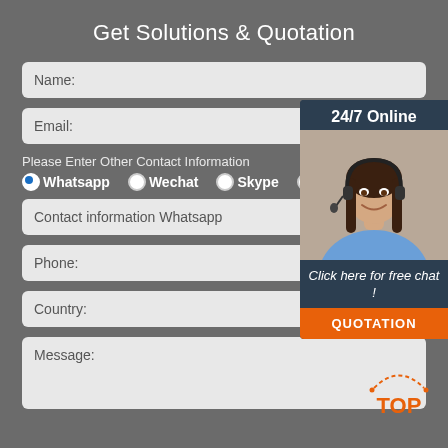Get Solutions & Quotation
Name:
Email:
Please Enter Other Contact Information
Whatsapp  Wechat  Skype  Viber
Contact information Whatsapp
Phone:
Country:
Message:
24/7 Online
Click here for free chat !
QUOTATION